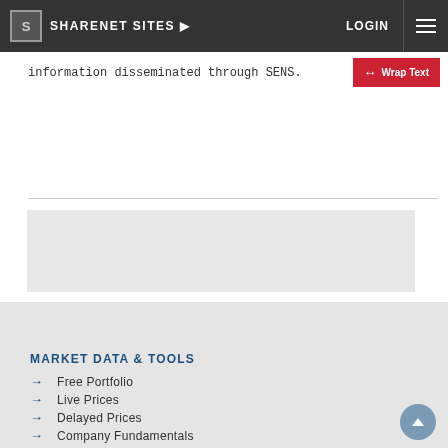SHARENET SITES ▶   LOGIN ≡
information disseminated through SENS.
[Figure (screenshot): Gray advertisement placeholder box]
MARKET DATA & TOOLS
→ Free Portfolio
→ Live Prices
→ Delayed Prices
→ Company Fundamentals
→ Sharenet Analytics